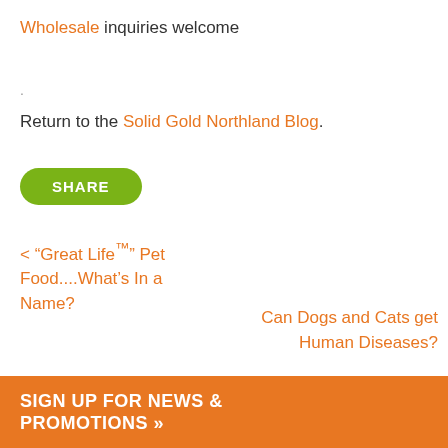Wholesale inquiries welcome
.
Return to the Solid Gold Northland Blog.
SHARE
< “Great Life™” Pet Food....What’s In a Name?
Can Dogs and Cats get Human Diseases? >
SIGN UP FOR NEWS & PROMOTIONS »